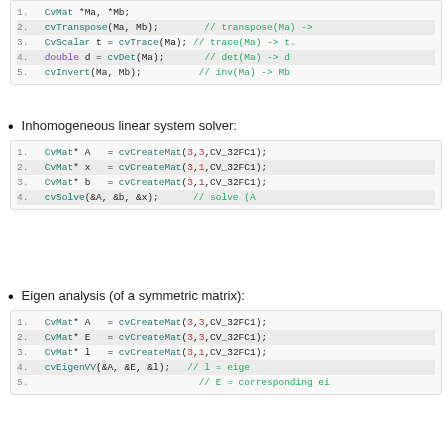[Figure (screenshot): Code block showing matrix operations: CvMat *Ma, *Mb; cvTranspose(Ma, Mb); CvScalar t = cvTrace(Ma); double d = cvDet(Ma); cvInvert(Ma, Mb);]
Inhomogeneous linear system solver:
[Figure (screenshot): Code block: CvMat* A = cvCreateMat(3,3,CV_32FC1); CvMat* x = cvCreateMat(3,1,CV_32FC1); CvMat* b = cvCreateMat(3,1,CV_32FC1); cvSolve(&A, &b, &x); // solve (A...]
Eigen analysis (of a symmetric matrix):
[Figure (screenshot): Code block: CvMat* A = cvCreateMat(3,3,CV_32FC1); CvMat* E = cvCreateMat(3,3,CV_32FC1); CvMat* l = cvCreateMat(3,1,CV_32FC1); cvEigenVV(&A, &E, &l); // l = eige... // E = corresponding ei...]